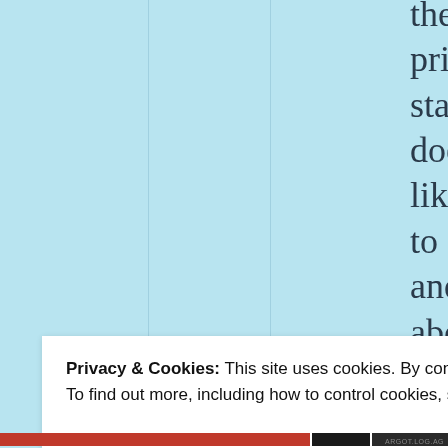they label him a racist. I take pride in the fact that Trump stands up for himself and doesn't take it on the chin like Bush used to. They used to call Bush horrible names and he never did a thing about it. And they keep to...
Privacy & Cookies: This site uses cookies. By continuing to use this website, you agree to their use. To find out more, including how to control cookies, see here: Cookie Policy
Close and accept